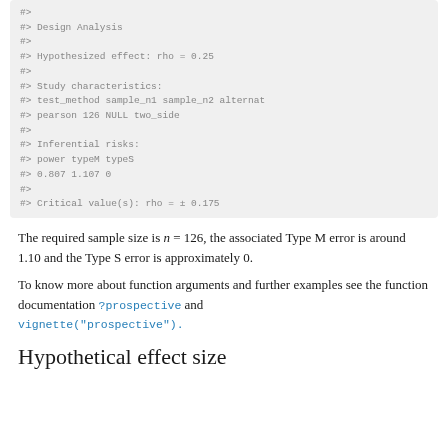[Figure (screenshot): Code output block showing Design Analysis results with hypothesized effect rho=0.25, study characteristics (pearson, n1=126, n2=NULL, two_side), inferential risks (power=0.807, typeM=1.107, typeS=0), and critical value rho = ± 0.175]
The required sample size is n = 126, the associated Type M error is around 1.10 and the Type S error is approximately 0.
To know more about function arguments and further examples see the function documentation ?prospective and vignette("prospective").
Hypothetical effect size